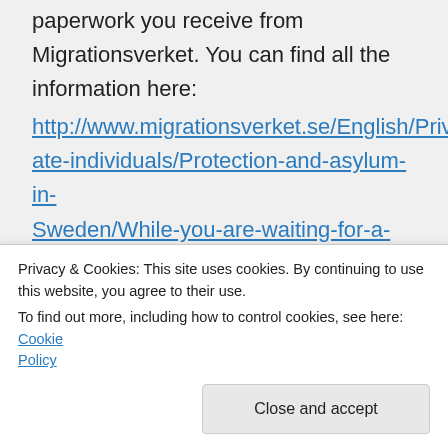paperwork you receive from Migrationsverket. You can find all the information here:
http://www.migrationsverket.se/English/Private-individuals/Protection-and-asylum-in-Sweden/While-you-are-waiting-for-a-decision/Work.html
Note that on that link it says the information will be changing soon due to recent changes in the law. The situation regarding
Privacy & Cookies: This site uses cookies. By continuing to use this website, you agree to their use.
To find out more, including how to control cookies, see here: Cookie Policy
ate-individuals/Protection-and-asylum-in-